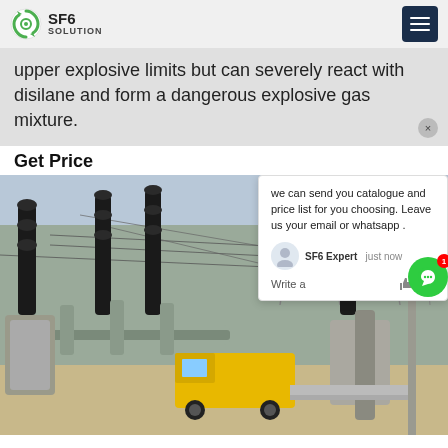SF6 SOLUTION
upper explosive limits but can severely react with disilane and form a dangerous explosive gas mixture.
Get Price
[Figure (photo): Electrical substation with SF6 gas equipment, large black insulators, pipes, a yellow truck, and power transmission infrastructure in background.]
we can send you catalogue and price list for you choosing. Leave us your email or whatsapp .
SF6 Expert    just now
Write a